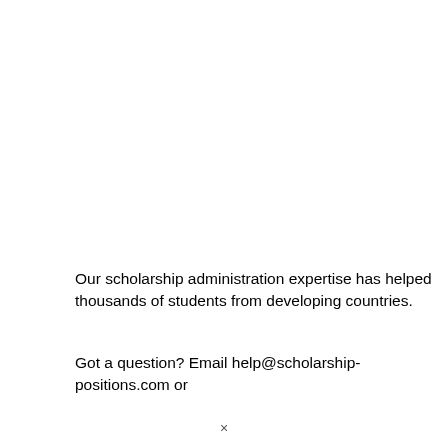Our scholarship administration expertise has helped thousands of students from developing countries.
Got a question? Email help@scholarship-positions.com or
×